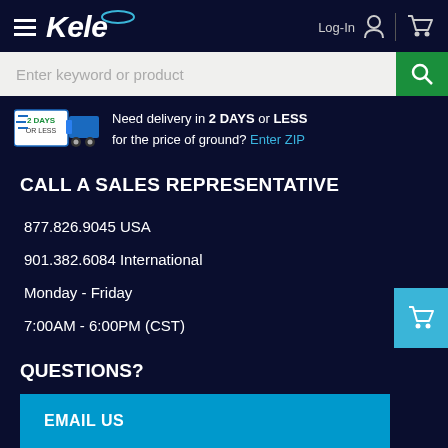Kele — Log-In [user icon] | [cart icon]
Enter keyword or product
Need delivery in 2 DAYS or LESS for the price of ground? Enter ZIP
CALL A SALES REPRESENTATIVE
877.826.9045 USA
901.382.6084 International
Monday - Friday
7:00AM - 6:00PM (CST)
QUESTIONS?
EMAIL US